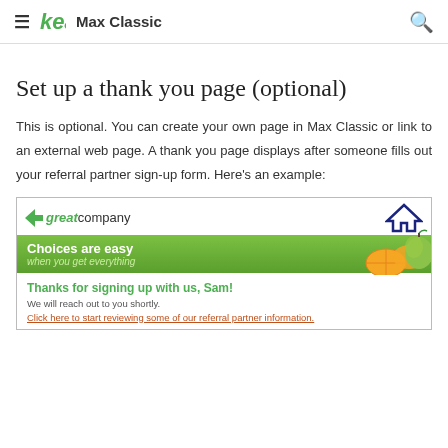≡ keap Max Classic 🔍
Set up a thank you page (optional)
This is optional. You can create your own page in Max Classic or link to an external web page. A thank you page displays after someone fills out your referral partner sign-up form. Here's an example:
[Figure (screenshot): Screenshot of a sample thank you page for 'great company' showing a logo with green arrow, a green banner reading 'Choices are easy / when you get everything' with fruit images, and a message 'Thanks for signing up with us, Sam!' with subtext 'We will reach out to you shortly.' and a link 'Click here to start reviewing some of our referral partner information.']